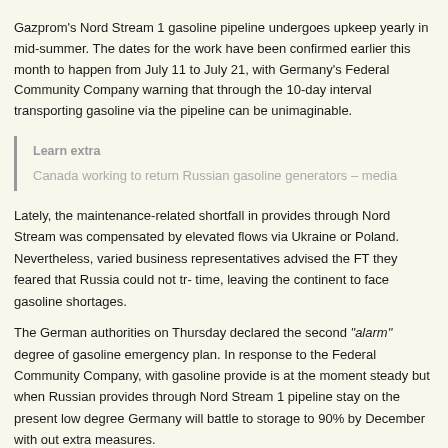Gazprom's Nord Stream 1 gasoline pipeline undergoes upkeep yearly in mid-summer. The dates for the work have been confirmed earlier this month to happen from July 11 to July 21, with Germany's Federal Community Company warning that through the 10-day interval transporting gasoline via the pipeline can be unimaginable.
Learn extra
Canada working to return Russian gasoline generators – media
Lately, the maintenance-related shortfall in provides through Nord Stream was compensated by elevated flows via Ukraine or Poland. Nevertheless, varied business representatives advised the FT they feared that Russia could not tr- time, leaving the continent to face gasoline shortages.
The German authorities on Thursday declared the second "alarm" degree of gasoline emergency plan. In response to the Federal Community Company, with gasoline provide is at the moment steady but when Russian provides through Nord Stream 1 pipeline stay on the present low degree Germany will battle to storage to 90% by December with out extra measures.